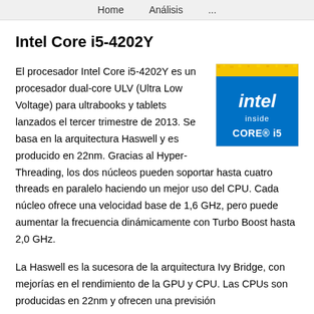Home   Análisis   ...
Intel Core i5-4202Y
[Figure (logo): Intel inside CORE i5 logo badge with blue and yellow colors]
El procesador Intel Core i5-4202Y es un procesador dual-core ULV (Ultra Low Voltage) para ultrabooks y tablets lanzados el tercer trimestre de 2013. Se basa en la arquitectura Haswell y es producido en 22nm. Gracias al Hyper-Threading, los dos núcleos pueden soportar hasta cuatro threads en paralelo haciendo un mejor uso del CPU. Cada núcleo ofrece una velocidad base de 1,6 GHz, pero puede aumentar la frecuencia dinámicamente con Turbo Boost hasta 2,0 GHz.
La Haswell es la sucesora de la arquitectura Ivy Bridge, con mejorías en el rendimiento de la GPU y CPU. Las CPUs son producidas en 22nm y ofrecen una previsión